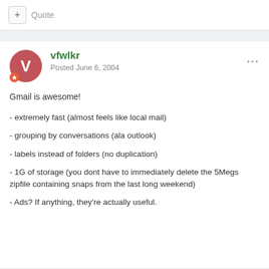+ Quote
vfwlkr
Posted June 6, 2004
Gmail is awesome!
- extremely fast (almost feels like local mail)
- grouping by conversations (ala outlook)
- labels instead of folders (no duplication)
- 1G of storage (you dont have to immediately delete the 5Megs zipfile containing snaps from the last long weekend)
- Ads? If anything, they're actually useful.